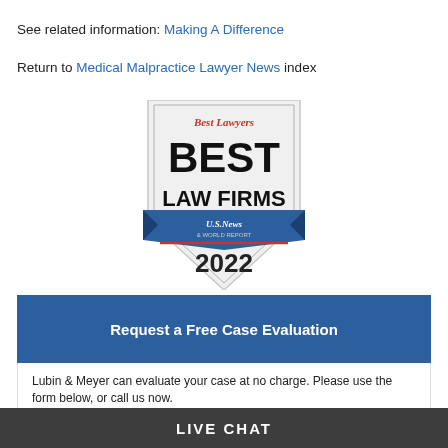See related information: Making A Difference
Return to Medical Malpractice Lawyer News index
[Figure (logo): Best Lawyers BEST LAW FIRMS U.S. News & World Report 2022 badge/shield]
Request a Free Case Evaluation
Lubin & Meyer can evaluate your case at no charge. Please use the form below, or call us now.

Call: 617-720-4447
LIVE CHAT